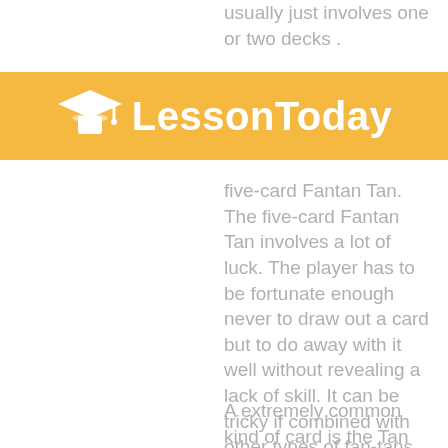usually just involves one or two decks .
[Figure (logo): LessonToday logo with graduation cap icon on golden/yellow banner background]
five-card Fantan Tan. The five-card Fantan Tan involves a lot of luck. The player has to be fortunate enough never to draw out a card but to do away with it well without revealing a lack of skill. It can be tricky if combined with other types of fan-tans. Five-card Fantan Tans is significantly more prevalent in tournaments where greater decks of cards are included.
A extremely common kind of card is the Tan Sheng which